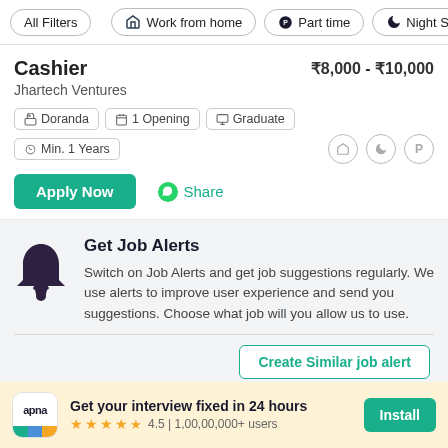All Filters | Work from home | Part time | Night Sh
Cashier ₹8,000 - ₹10,000
Jhartech Ventures
Doranda  1 Opening  Graduate  Min. 1 Years
Apply Now   Share
Get Job Alerts
Switch on Job Alerts and get job suggestions regularly. We use alerts to improve user experience and send you suggestions. Choose what job will you allow us to use.
Create Similar job alert
apna  Get your interview fixed in 24 hours  4.5 | 1,00,00,000+ users  Install